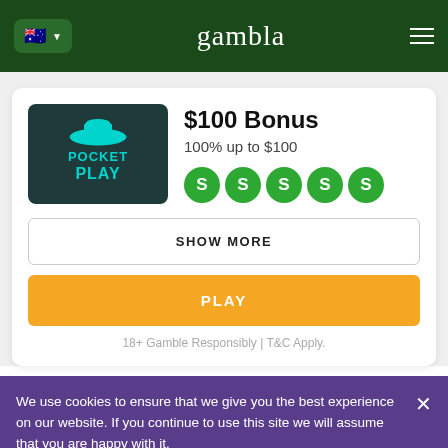gambla
[Figure (logo): Pocket Play casino logo — dark teal background with teal hat icon and 'POCKET PLAY' text in cyan]
$100 Bonus
100% up to $100
SHOW MORE
PLAY
18+ Gamble Responsibly | T&C Apply.
We use cookies to ensure that we give you the best experience on our website. If you continue to use this site we will assume that you are happy with it.
Ok
Privacy policy